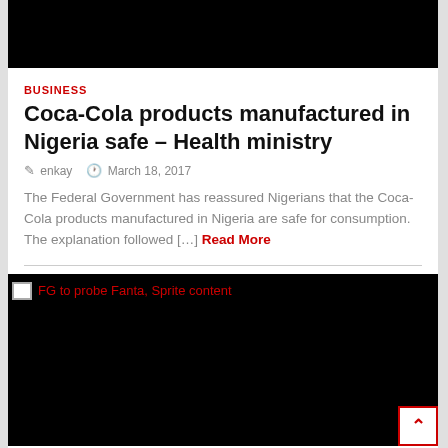[Figure (photo): Black image area at the top of the page (cropped photo)]
BUSINESS
Coca-Cola products manufactured in Nigeria safe – Health ministry
enkay   March 18, 2017
The Federal Government has reassured Nigerians that the Coca-Cola products manufactured in Nigeria are safe for consumption. The explanation followed […] Read More
[Figure (photo): Black image area with alt text label 'FG to probe Fanta, Sprite content' at top left]